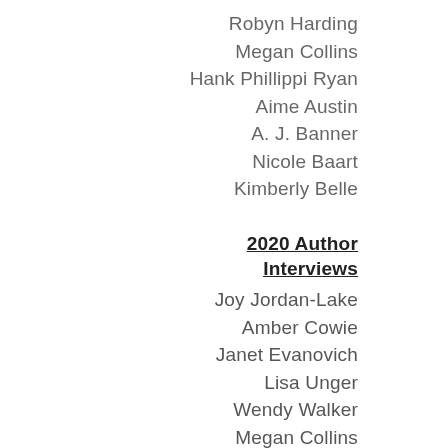Robyn Harding
Megan Collins
Hank Phillippi Ryan
Aime Austin
A. J. Banner
Nicole Baart
Kimberly Belle
2020 Author Interviews
Joy Jordan-Lake
Amber Cowie
Janet Evanovich
Lisa Unger
Wendy Walker
Megan Collins
Katherine Center
A. Ro…